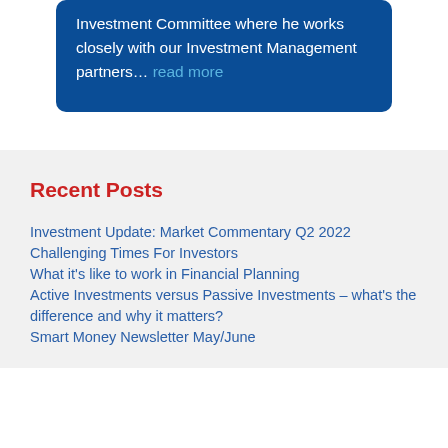Investment Committee where he works closely with our Investment Management partners… read more
Recent Posts
Investment Update: Market Commentary Q2 2022
Challenging Times For Investors
What it's like to work in Financial Planning
Active Investments versus Passive Investments – what's the difference and why it matters?
Smart Money Newsletter May/June